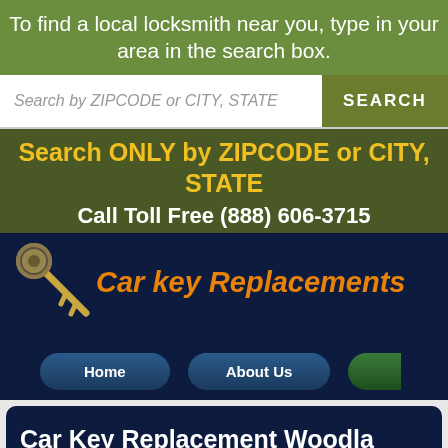To find a local locksmith near you, type in your area in the search box.
Search by ZIPCODE or CITY, STATE
SEARCH
Search ONLY by ZIPCODE or CITY, STATE
Call Toll Free (888) 606-3715
[Figure (illustration): Car key with keychain graphic]
Car key Replacements
Home
About Us
Car Key Replacement Woodla
Call Now: (888) 606-3715